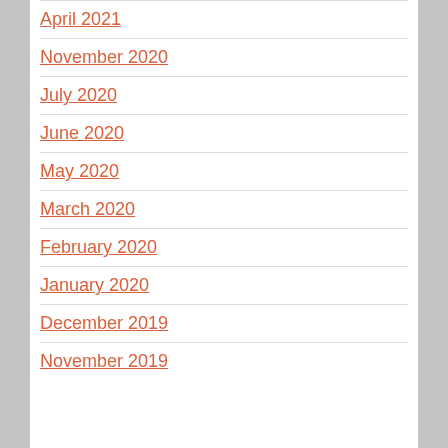April 2021
November 2020
July 2020
June 2020
May 2020
March 2020
February 2020
January 2020
December 2019
November 2019